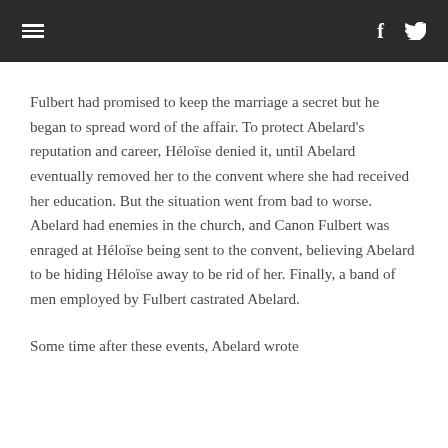≡   f 🐦
Fulbert had promised to keep the marriage a secret but he began to spread word of the affair. To protect Abelard's reputation and career, Héloïse denied it, until Abelard eventually removed her to the convent where she had received her education. But the situation went from bad to worse. Abelard had enemies in the church, and Canon Fulbert was enraged at Héloïse being sent to the convent, believing Abelard to be hiding Héloïse away to be rid of her. Finally, a band of men employed by Fulbert castrated Abelard.
Some time after these events, Abelard wrote